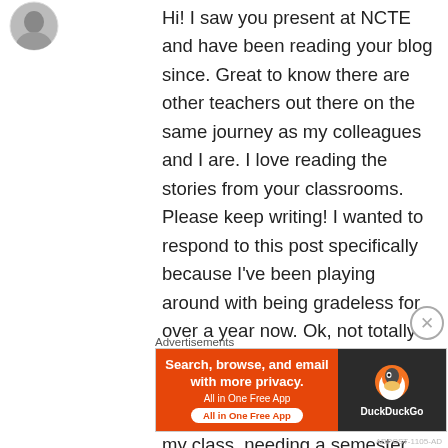[Figure (photo): Small circular avatar photo of a person, partially visible at top left]
Hi! I saw you present at NCTE and have been reading your blog since. Great to know there are other teachers out there on the same journey as my colleagues and I are. I love reading the stories from your classrooms. Please keep writing! I wanted to respond to this post specifically because I've been playing around with being gradeless for over a year now. Ok, not totally gradeless because I still have to feed the beast (data in grade book for wider purposes beyond my class, needing a semester grade, etc.), but I no longer put grades on papers or any other individual assignments tohibel...
Advertisements
[Figure (screenshot): DuckDuckGo advertisement banner: orange left side with text 'Search, browse, and email with more privacy. All in One Free App', dark right side with DuckDuckGo logo]